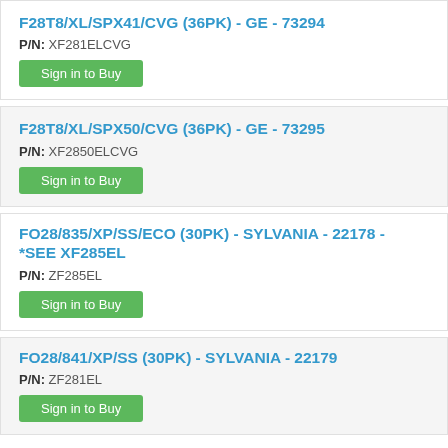F28T8/XL/SPX41/CVG (36PK) - GE - 73294
P/N: XF281ELCVG
Sign in to Buy
F28T8/XL/SPX50/CVG (36PK) - GE - 73295
P/N: XF2850ELCVG
Sign in to Buy
FO28/835/XP/SS/ECO (30PK) - SYLVANIA - 22178 - *SEE XF285EL
P/N: ZF285EL
Sign in to Buy
FO28/841/XP/SS (30PK) - SYLVANIA - 22179
P/N: ZF281EL
Sign in to Buy